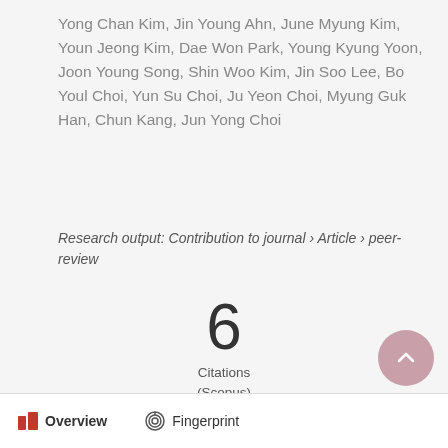Yong Chan Kim, Jin Young Ahn, June Myung Kim, Youn Jeong Kim, Dae Won Park, Young Kyung Yoon, Joon Young Song, Shin Woo Kim, Jin Soo Lee, Bo Youl Choi, Yun Su Choi, Ju Yeon Choi, Myung Guk Han, Chun Kang, Jun Yong Choi
Research output: Contribution to journal › Article › peer-review
[Figure (infographic): Citation count badge showing 6 Citations (Scopus)]
[Figure (logo): Altmetric logo — colorful splat shape with orange, green, and purple circles]
Overview   Fingerprint